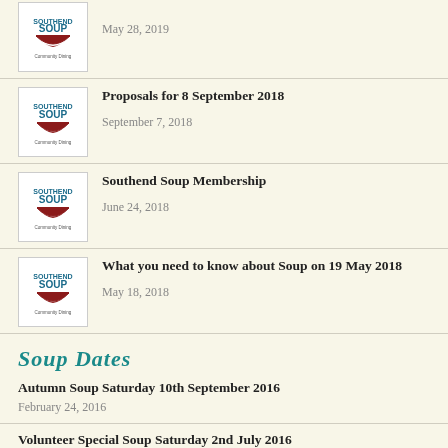May 28, 2019
Proposals for 8 September 2018
September 7, 2018
Southend Soup Membership
June 24, 2018
What you need to know about Soup on 19 May 2018
May 18, 2018
Soup Dates
Autumn Soup Saturday 10th September 2016
February 24, 2016
Volunteer Special Soup Saturday 2nd July 2016